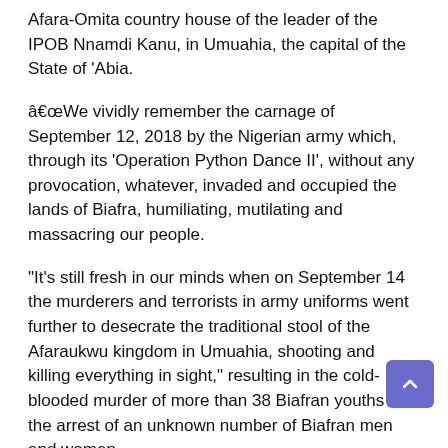Afara-Omita country house of the leader of the IPOB Nnamdi Kanu, in Umuahia, the capital of the State of 'Abia.
â€œWe vividly remember the carnage of September 12, 2018 by the Nigerian army which, through its ‘Operation Python Dance II’, without any provocation, whatever, invaded and occupied the lands of Biafra, humiliating, mutilating and massacring our people.
“It’s still fresh in our minds when on September 14 the murderers and terrorists in army uniforms went further to desecrate the traditional stool of the Afaraukwu kingdom in Umuahia, shooting and killing everything in sight,” resulting in the cold-blooded murder of more than 38 Biafran youths and the arrest of an unknown number of Biafran men and women.
â€œRemember that the IPOB in the world has, since 2018, reserved September 14 of each year as a day of civil disobedience throughout Biafraland.
â€œd...